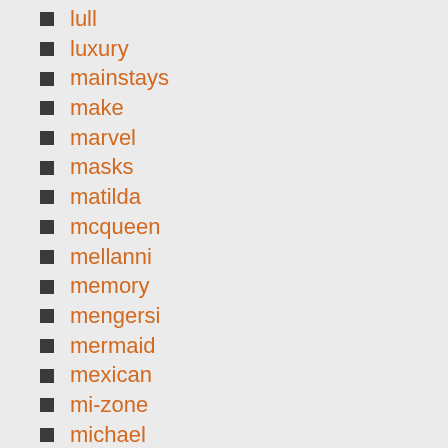lull
luxury
mainstays
make
marvel
masks
matilda
mcqueen
mellanni
memory
mengersi
mermaid
mexican
mi-zone
michael
mickey
minecraft
miniature
minnie
modern
monkey
monster
mossy
most